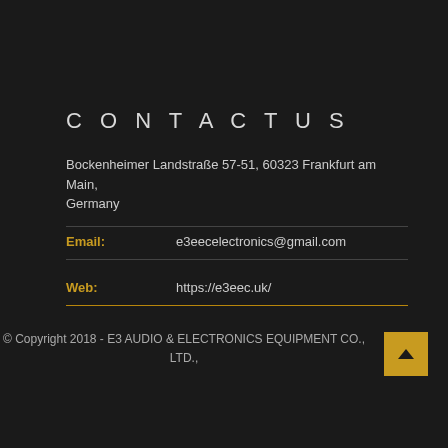CONTACT US
Bockenheimer Landstraße 57-51, 60323 Frankfurt am Main, Germany
Email:    e3eecelectronics@gmail.com
Web:    https://e3eec.uk/
© Copyright 2018 - E3 AUDIO & ELECTRONICS EQUIPMENT CO., LTD.,